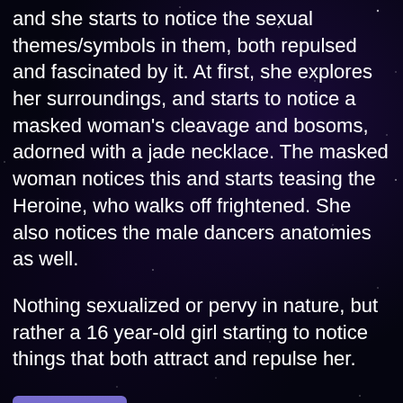and she starts to notice the sexual themes/symbols in them, both repulsed and fascinated by it. At first, she explores her surroundings, and starts to notice a masked woman's cleavage and bosoms, adorned with a jade necklace. The masked woman notices this and starts teasing the Heroine, who walks off frightened. She also notices the male dancers anatomies as well.
Nothing sexualized or pervy in nature, but rather a 16 year-old girl starting to notice things that both attract and repulse her.
[Figure (other): A purple/blue rounded rectangle button labeled 'Reply']